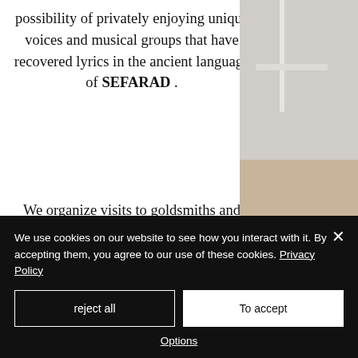possibility of privately enjoying unique voices and musical groups that have recovered lyrics in the ancient language of SEFARAD .
[Figure (photo): Right column photo showing a decorative chair top portion and a textured fabric/rug below]
We organize visits to goldsmiths and potters workshops to learn about the art of working with hands pieces of ancient origin that have been recovering to incorporate them into
We use cookies on our website to see how you interact with it. By accepting them, you agree to our use of these cookies. Privacy Policy
reject all
To accept
Options